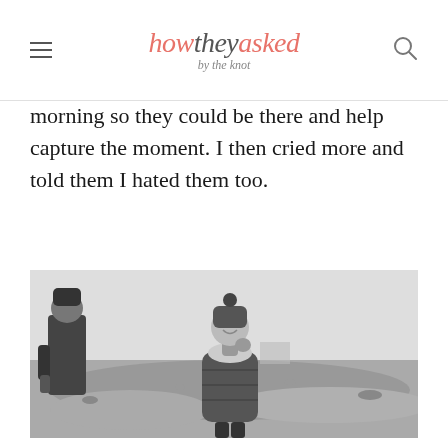how they asked by the knot
morning so they could be there and help capture the moment. I then cried more and told them I hated them too.
[Figure (photo): Black and white photo of two people on a pebbly beach. One person stands on the left in a dark coat and beanie hat. Another person stands in the center wearing a pom-pom beanie, scarf, and puffer jacket, smiling and touching their face, apparently in an emotional moment during a proposal.]